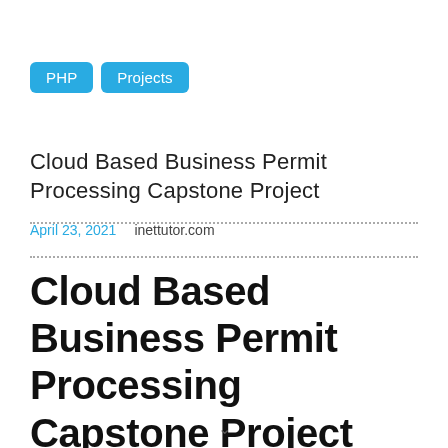PHP
Projects
Cloud Based Business Permit Processing Capstone Project
April 23, 2021    inettutor.com
Cloud Based Business Permit Processing Capstone Project